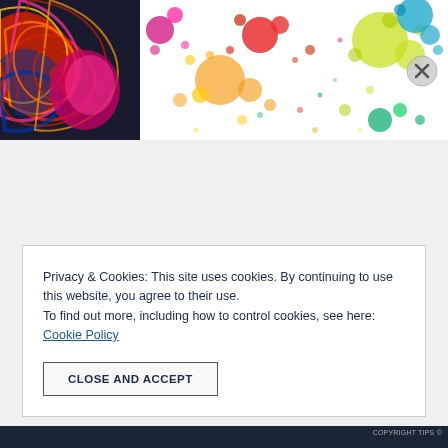[Figure (illustration): Colorful header banner with two sections: left side shows abstract swirling patterns with red, orange, yellow, dark blue and black lines forming decorative shapes; right side shows multicolored paint splatter dots on white background with colors including red, orange, yellow, green, blue, and magenta.]
Privacy & Cookies: This site uses cookies. By continuing to use this website, you agree to their use.
To find out more, including how to control cookies, see here: Cookie Policy
CLOSE AND ACCEPT